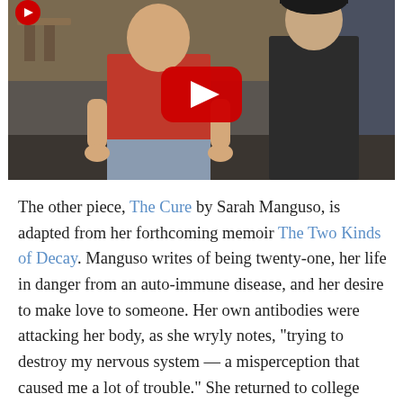[Figure (screenshot): YouTube video thumbnail showing two people (one in a red t-shirt, one in dark clothing) in what appears to be a restaurant setting, with a large YouTube play button overlay in the center and a YouTube logo in the top-left corner.]
The other piece, The Cure by Sarah Manguso, is adapted from her forthcoming memoir The Two Kinds of Decay. Manguso writes of being twenty-one, her life in danger from an auto-immune disease, and her desire to make love to someone. Her own antibodies were attacking her body, as she wryly notes, "trying to destroy my nervous system — a misperception that caused me a lot of trouble." She returned to college with a huge tube sticking out of her chest, a necessary part of the